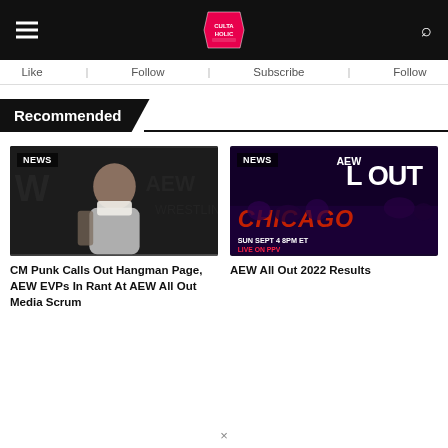Cultaholic website header with logo, hamburger menu, and search icon
Like | Follow | Subscribe | Follow
Recommended
[Figure (photo): CM Punk with towel around neck at AEW media scrum, AEW branding visible in background, NEWS badge in top left]
CM Punk Calls Out Hangman Page, AEW EVPs In Rant At AEW All Out Media Scrum
[Figure (photo): AEW All Out 2022 promotional image showing Chicago text in red neon, L OUT text, SUN SEPT 4 8PM ET LIVE ON PPV, NEWS badge in top left]
AEW All Out 2022 Results
×